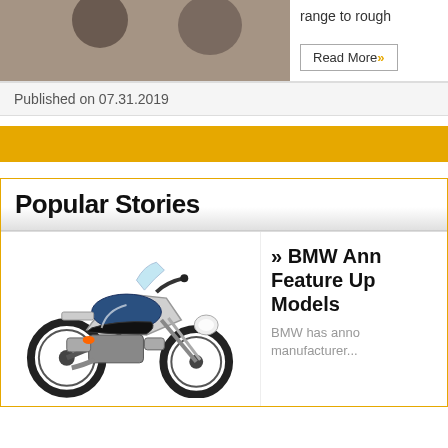[Figure (photo): Partial view of two people, cropped at top of page]
range to rough
Read More »
Published on 07.31.2019
[Figure (other): Gold/yellow horizontal band]
Popular Stories
[Figure (photo): BMW adventure motorcycle (R 1250 GS style) in white, blue and orange colors, photographed from the side]
» BMW Ann Feature Up Models BMW has anno manufacturer...